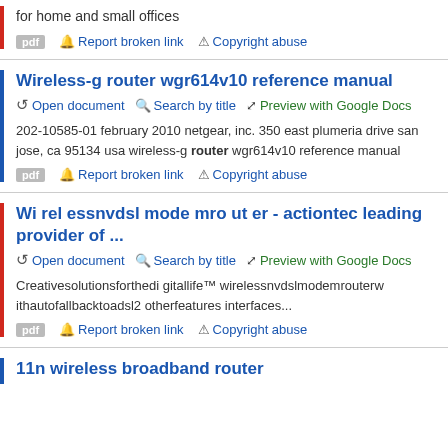for home and small offices
pdf  Report broken link  Copyright abuse
Wireless-g router wgr614v10 reference manual
Open document  Search by title  Preview with Google Docs
202-10585-01 february 2010 netgear, inc. 350 east plumeria drive san jose, ca 95134 usa wireless-g router wgr614v10 reference manual
pdf  Report broken link  Copyright abuse
Wi rel essnvdsl mode mro ut er - actiontec leading provider of ...
Open document  Search by title  Preview with Google Docs
Creativesolutionsforthedi gitallife™ wirelessnvdslmodemrouterw ithautofallbacktoadsl2 otherfeatures interfaces...
pdf  Report broken link  Copyright abuse
11n wireless broadband router